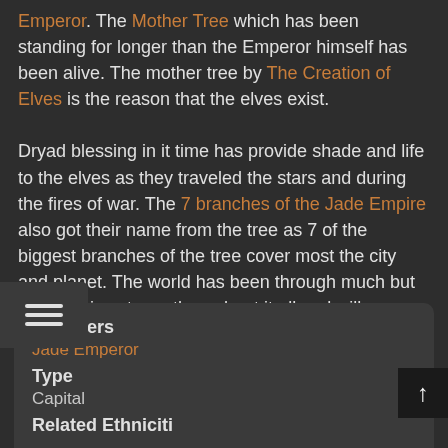Emperor. The Mother Tree which has been standing for longer than the Emperor himself has been alive. The mother tree by The Creation of Elves is the reason that the elves exist.

Dryad blessing in it time has provide shade and life to the elves as they traveled the stars and during the fires of war. The 7 branches of the Jade Empire also got their name from the tree as 7 of the biggest branches of the tree cover most the city and planet. The world has been through much but still remains strong throughout it all and will continue to provide shade to future generations of elves and all races who which to rest underneath its branches.
| Field | Value |
| --- | --- |
| Founders | Jade Emperor |
| Type | Capital |
| Related Ethnicities |  |